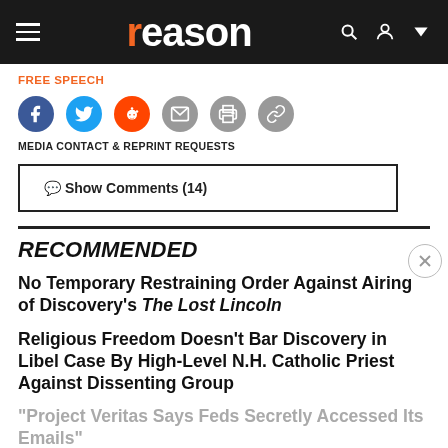reason
FREE SPEECH
[Figure (infographic): Social sharing icons: Facebook, Twitter, Reddit, Email, Print, Link]
MEDIA CONTACT & REPRINT REQUESTS
💬 Show Comments (14)
RECOMMENDED
No Temporary Restraining Order Against Airing of Discovery's The Lost Lincoln
Religious Freedom Doesn't Bar Discovery in Libel Case By High-Level N.H. Catholic Priest Against Dissenting Group
"Project Veritas Says Feds Secretly Accessed Its Emails"
First Amendment Protections for Anonymo...